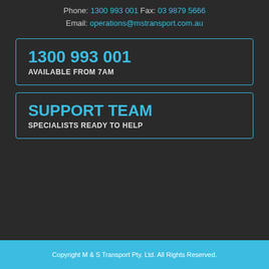Phone: 1300 993 001 Fax: 03 9879 5666
Email: operations@mstransport.com.au
1300 993 001
AVAILABLE FROM 7AM
SUPPORT TEAM
SPECIALISTS READY TO HELP
Copyright M & S Transport Pty. Ltd. All Rights Reserved.